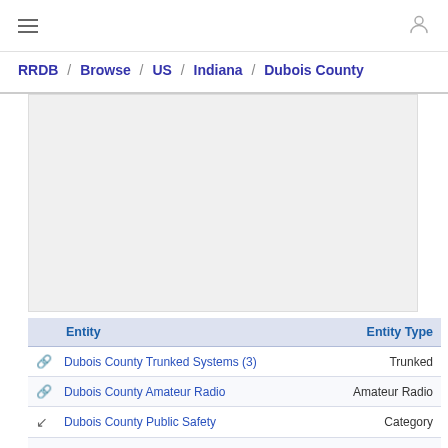≡   [user icon]
RRDB / Browse / US / Indiana / Dubois County
|  | Entity | Entity Type |
| --- | --- | --- |
| 🔗 | Dubois County Trunked Systems (3) | Trunked |
| 🔗 | Dubois County Amateur Radio | Amateur Radio |
| ↙ | Dubois County Public Safety | Category |
| ↙ | Utilities | Category |
| ↙ | Schools | Category |
| ↙ | Airports | Category |
| ↙ | Attractions | Category |